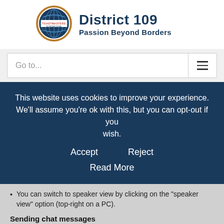[Figure (logo): Toastmasters International globe logo with orange and blue ring, with a rectangular label 'TOASTMASTERS INTERNATIONAL' inside]
District 109
Passion Beyond Borders
Go to...
This website uses cookies to improve your experience. We'll assume you're ok with this, but you can opt-out if you wish.
Accept   Reject
Read More
You can switch to speaker view by clicking on the "speaker view" option (top-right on a PC).
Sending chat messages
Click the "Chat" option to open the chat window. You can choose